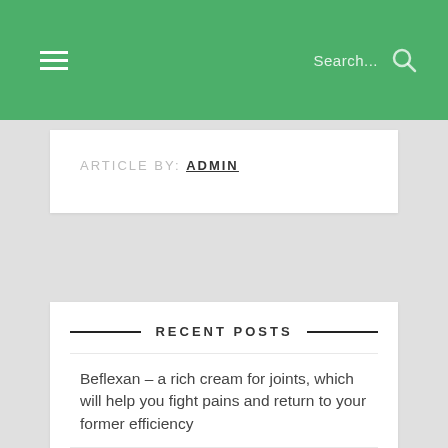Search...
ARTICLE BY: ADMIN
RECENT POSTS
Beflexan – a rich cream for joints, which will help you fight pains and return to your former efficiency
Cardio Life – patent to improve